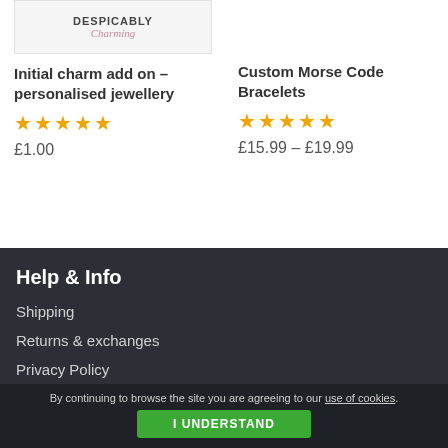[Figure (logo): Despicably Charming logo with bold dark text on top and pink cursive text below, on a light grey background]
Initial charm add on – personalised jewellery
★★★★★
£1.00
Custom Morse Code Bracelets
★★★★★
£15.99 – £19.99
Help & Info
Shipping
Returns & exchanges
Privacy Policy
By continuing to browse the site you are agreeing to our use of cookies.
I UNDERSTAND